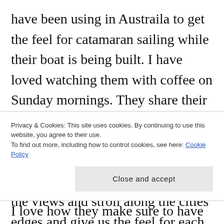have been using in Austraila to get the feel for catamaran sailing while their boat is being built. I have loved watching them with coffee on Sunday mornings. They share their explorations at each port, along with their brews, and breads and croissants – yet they seem to never gain weight! They hike and share the views and stroll along the cities edges and give us the feel for each port and anchorage. They take their sailing seriously, paying attention to the weather windows, waves
Privacy & Cookies: This site uses cookies. By continuing to use this website, you agree to their use.
To find out more, including how to control cookies, see here: Cookie Policy
Close and accept
I love how they make sure to have a safe passage